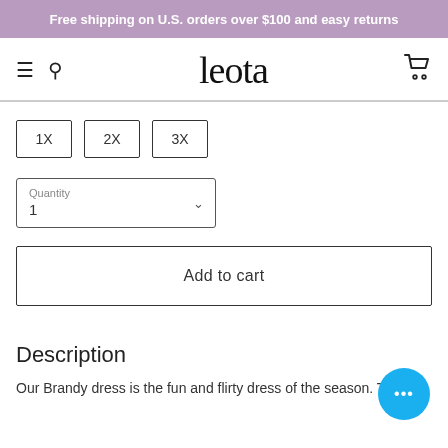Free shipping on U.S. orders over $100 and easy returns
[Figure (screenshot): Leota e-commerce store navigation bar with hamburger menu, search icon, leota logo, and cart icon]
1X
2X
3X
Quantity
1
Add to cart
Description
Our Brandy dress is the fun and flirty dress of the season. This